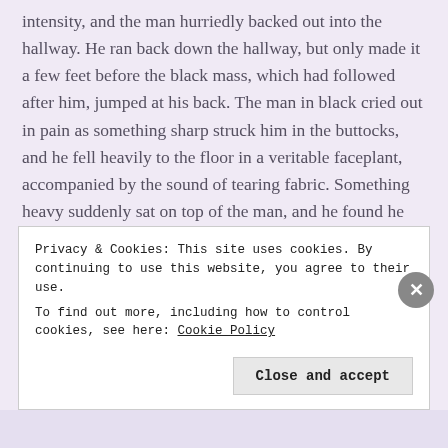intensity, and the man hurriedly backed out into the hallway. He ran back down the hallway, but only made it a few feet before the black mass, which had followed after him, jumped at his back. The man in black cried out in pain as something sharp struck him in the buttocks, and he fell heavily to the floor in a veritable faceplant, accompanied by the sound of tearing fabric. Something heavy suddenly sat on top of the man, and he found he couldn't move.
An unknown number of minutes later, the homeowners arrived back home to find their door standing open.
Privacy & Cookies: This site uses cookies. By continuing to use this website, you agree to their use.
To find out more, including how to control cookies, see here: Cookie Policy

Close and accept